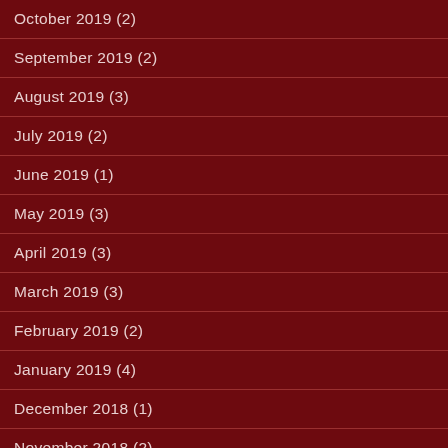October 2019 (2)
September 2019 (2)
August 2019 (3)
July 2019 (2)
June 2019 (1)
May 2019 (3)
April 2019 (3)
March 2019 (3)
February 2019 (2)
January 2019 (4)
December 2018 (1)
November 2018 (2)
October 2018 (1)